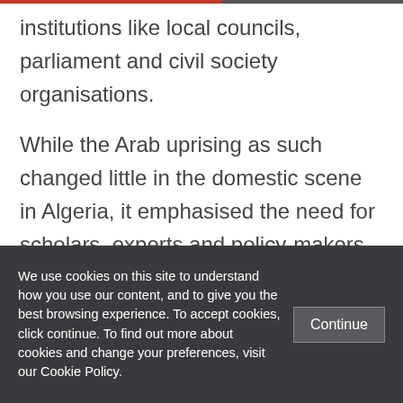institutions like local councils, parliament and civil society organisations.
While the Arab uprising as such changed little in the domestic scene in Algeria, it emphasised the need for scholars, experts and policy-makers to reconsider long-held assumptions about the country and its domestic power relations.
We use cookies on this site to understand how you use our content, and to give you the best browsing experience. To accept cookies, click continue. To find out more about cookies and change your preferences, visit our Cookie Policy.